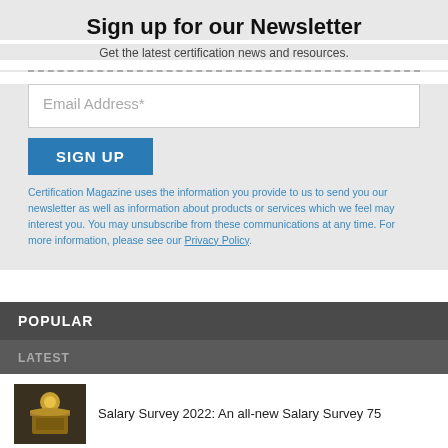Sign up for our Newsletter
Get the latest certification news and resources.
Email Address*
SIGN UP
Certification Magazine uses the information you provide to us to send you our newsletter as well as information about products or services which we feel may interest you. You may unsubscribe from these communications at any time. For more information, please see our Privacy Policy.
POPULAR
LATEST
Salary Survey 2022: An all-new Salary Survey 75
Salary Survey 2021: An all-new Salary Survey 75